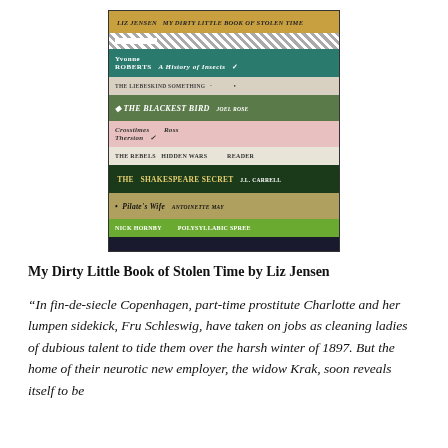[Figure (photo): A stack of books photographed from above showing their spines. Visible titles include: My Dirty Little Book of Stolen Time, Yvonne Roberts A History of Insects, The Blackest Bird, Crosstimes Ross Therston, The Shakespeare Secret J.L. Carroll, Pilate's Wife, and others.]
My Dirty Little Book of Stolen Time by Liz Jensen
“In fin-de-siecle Copenhagen, part-time prostitute Charlotte and her lumpen sidekick, Fru Schleswig, have taken on jobs as cleaning ladies of dubious talent to tide them over the harsh winter of 1897. But the home of their neurotic new employer, the widow Krak, soon reveals itself to be